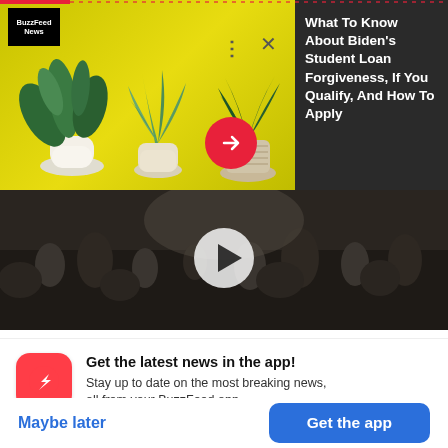[Figure (screenshot): BuzzFeed News plant advertisement overlay on a mobile app screen, showing three potted plants on a yellow background with a red arrow button, three-dots menu, and X close button]
What To Know About Biden's Student Loan Forgiveness, If You Qualify, And How To Apply
[Figure (photo): A crowd of people in a dimly lit venue with a white play button overlay in the center]
Get the latest news in the app! Stay up to date on the most breaking news, all from your BuzzFeed app.
Maybe later
Get the app